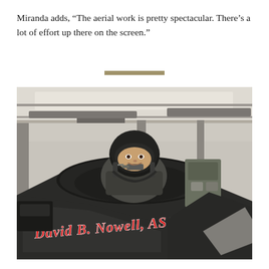Miranda adds, “The aerial work is pretty spectacular. There’s a lot of effort up there on the screen.”
[Figure (photo): A person wearing a black pilot helmet and flight suit seated in the cockpit of an aircraft inside a hangar. The cockpit has the name 'David B. Nowell, ASC' written in red cursive script on the side.]